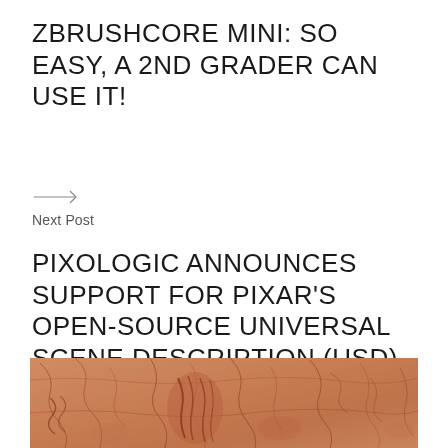ZBRUSHCORE MINI: SO EASY, A 2ND GRADER CAN USE IT!
[Figure (other): Arrow icon pointing right]
Next Post
PIXOLOGIC ANNOUNCES SUPPORT FOR PIXAR'S OPEN-SOURCE UNIVERSAL SCENE DESCRIPTION (USD) FILE FORMAT
[Figure (photo): Close-up photo of a sandy/terracotta colored textured surface with cracked clay-like patterns and sculptural relief details including what appears to be draped fabric or robe forms]